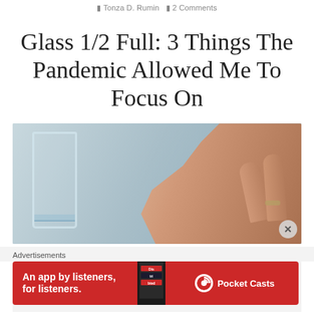Tonza D. Rumn   2 Comments
Glass 1/2 Full: 3 Things The Pandemic Allowed Me To Focus On
[Figure (photo): A hand reaching toward a glass of water that is half full, against a grey-blue background]
Advertisements
[Figure (infographic): Red advertisement banner for Pocket Casts: 'An app by listeners, for listeners.' with a phone image showing the Pocket Casts app and the Pocket Casts logo and name on the right]